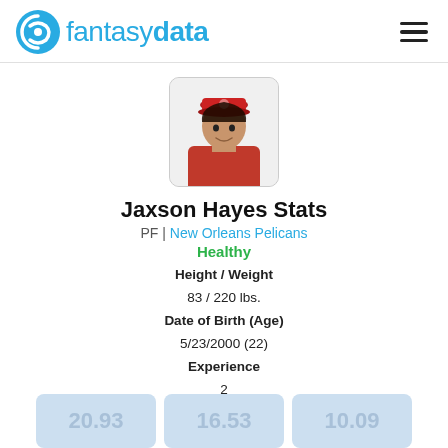fantasydata
[Figure (photo): Jaxson Hayes player headshot wearing a red hat and red jacket]
Jaxson Hayes Stats
PF | New Orleans Pelicans
Healthy
Height / Weight
83 / 220 lbs.
Date of Birth (Age)
5/23/2000 (22)
Experience
2
College
Texas
20.93
16.53
10.09